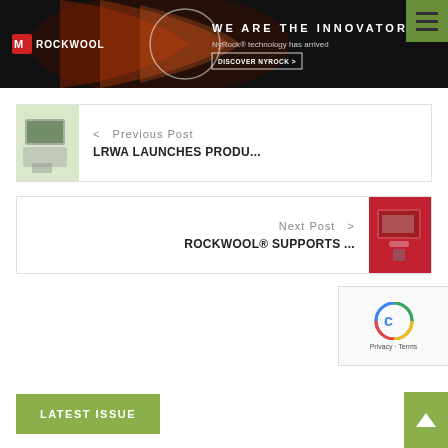[Figure (screenshot): ROCKWOOL banner advertisement: dark background with orange swirl, ROCKWOOL logo on left, text 'WE ARE THE INNOVATORS NyRock® technology has arrived DISCOVER NYROCK >' on right]
[Figure (screenshot): Navigation box: Previous Post thumbnail of laptop, text '< Previous Post LRWA LAUNCHES PRODU...']
[Figure (screenshot): Navigation box: Next Post thumbnail of red monitor screen, text 'Next Post > ROCKWOOL® SUPPORTS ...']
[Figure (screenshot): reCAPTCHA widget with Google reCAPTCHA icon and Privacy - Terms links]
[Figure (screenshot): LATEST ISSUE green button and scroll-to-top green arrow button]